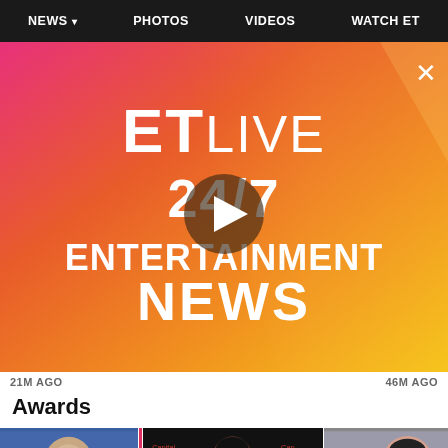NEWS  PHOTOS  VIDEOS  WATCH ET
[Figure (screenshot): ET Live 24/7 Entertainment News video banner with pink-to-orange gradient background, play button circle in center, X close button top right, bold white text reading ET LIVE 24/7 ENTERTAINMENT NEWS]
21M AGO
46M AGO
Awards
[Figure (photo): Three thumbnail photos showing celebrities at awards events]